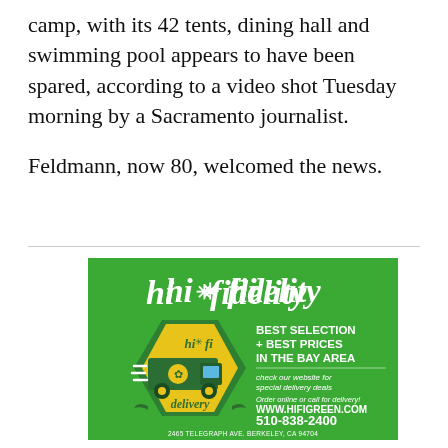camp, with its 42 tents, dining hall and swimming pool appears to have been spared, according to a video shot Tuesday morning by a Sacramento journalist.

Feldmann, now 80, welcomed the news.
[Figure (infographic): Hi-Fidelity cannabis delivery service advertisement on green background. Features stylized italic script logo 'hi*fidelity' at top, a yellow hexagonal badge with a delivery van graphic and 'hi-fi delivery' text, and promotional text: 'BEST SELECTION + BEST PRICES IN THE BAY AREA', 'check our website for special delivery deals', 'Order online or call for delivery! WWW.HIFIGREEN.COM 510-838-2400', '2465 TELEGRAPH AVE. BERKELEY, CA 94704']